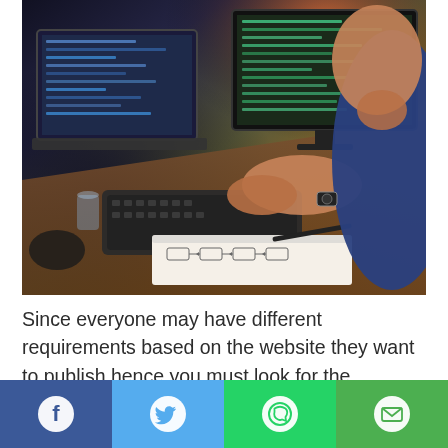[Figure (photo): Person working at a desk with multiple laptop screens showing code, hand typing on keyboard, spiral notebook with flowchart diagrams, pen on desk, watch on wrist]
Since everyone may have different requirements based on the website they want to publish hence you must look for the following aspect before you try to buy the web hosting services.
[Figure (infographic): Social media share bar with four buttons: Facebook (dark blue), Twitter (light blue), WhatsApp (green), Email (green)]